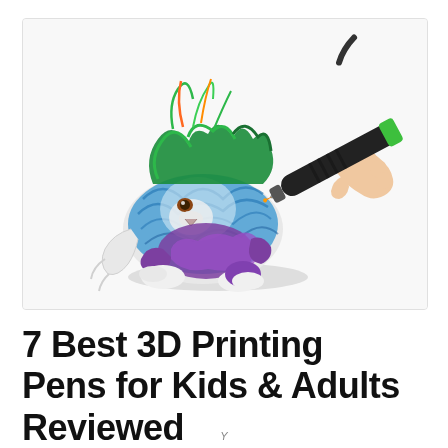[Figure (illustration): A colorful 3D-printed fantastical lion-like creature made with a 3D printing pen, decorated in blue, green, white, and purple filament. A human hand on the right side holds a black 3D printing pen with a green accent, pointing it toward the creature.]
7 Best 3D Printing Pens for Kids & Adults Reviewed